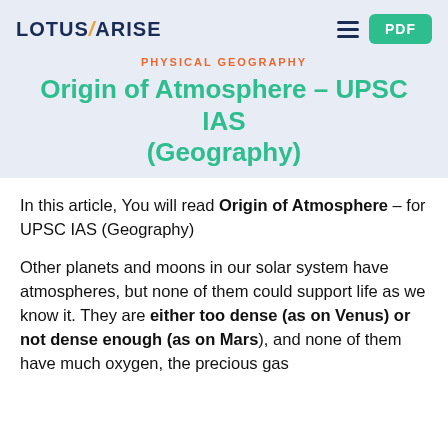LOTUS ARISE
PHYSICAL GEOGRAPHY
Origin of Atmosphere – UPSC IAS (Geography)
By Lotus Arise • February 27, 2021 • 5 Comments
In this article, You will read Origin of Atmosphere – for UPSC IAS (Geography)
Other planets and moons in our solar system have atmospheres, but none of them could support life as we know it. They are either too dense (as on Venus) or not dense enough (as on Mars), and none of them have much oxygen, the precious gas